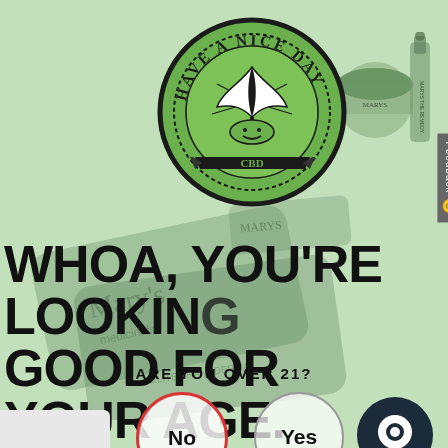[Figure (logo): Have A Nice Day CBD circular badge logo with cannabis leaf and smile, green and dark colors]
[Figure (photo): CBD product images including jar and dropper bottle in the top right corner, muted green tones]
WHOA, YOU'RE LOOKING GOOD FOR YOUR AGE.
ARE YOU OVER 21?
[Figure (infographic): Two circular buttons: No (red border) and Yes (gray border) for age verification]
[Figure (screenshot): Dark navy circular chat button icon in bottom right]
[Figure (other): Feedback tab on the right side]